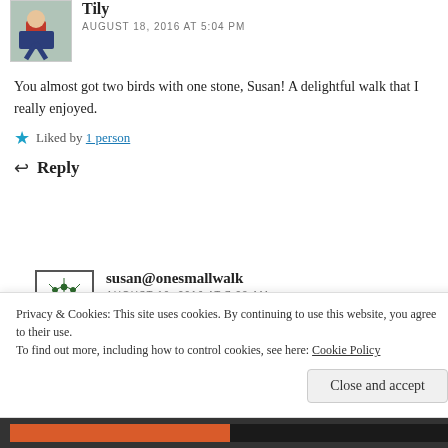Tily
AUGUST 18, 2016 AT 5:04 PM
You almost got two birds with one stone, Susan! A delightful walk that I really enjoyed.
Liked by 1 person
Reply
susan@onesmallwalk
AUGUST 19, 2016 AT 7:23 AM
Privacy & Cookies: This site uses cookies. By continuing to use this website, you agree to their use. To find out more, including how to control cookies, see here: Cookie Policy
Close and accept